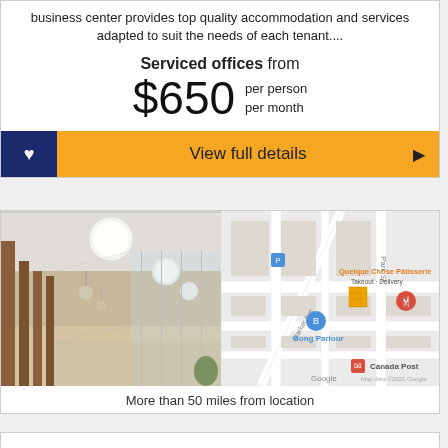business center provides top quality accommodation and services adapted to suit the needs of each tenant....
Serviced offices from
$650 per person per month
View full details
[Figure (photo): Interior corridor of a serviced office with wooden pillars and ceiling lights]
[Figure (map): Google Map showing location near Quelque Chose Pâtisserie, Bong Parlour, and Canada Post]
More than 50 miles from location